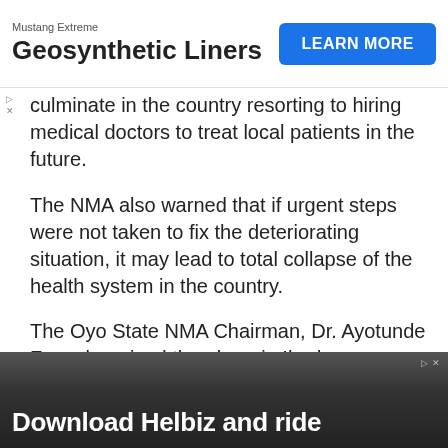[Figure (other): Advertisement banner: Mustang Extreme Geosynthetic Liners with LEARN MORE button]
culminate in the country resorting to hiring medical doctors to treat local patients in the future.
The NMA also warned that if urgent steps were not taken to fix the deteriorating situation, it may lead to total collapse of the health system in the country.
The Oyo State NMA Chairman, Dr. Ayotunde Fasunla, raised the alarm in Ibadan on Tuesday, at
[Figure (other): Social media sharing icons row: WhatsApp, Facebook, Twitter, LinkedIn, Telegram, Pinterest, Reddit, Email]
[Figure (other): Advertisement banner at bottom: Download Helbiz and ride]